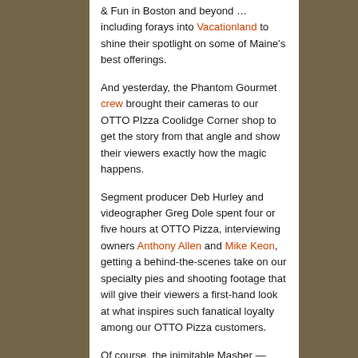& Fun in Boston and beyond … including forays into Vacationland to shine their spotlight on some of Maine's best offerings.
And yesterday, the Phantom Gourmet crew brought their cameras to our OTTO PIzza Coolidge Corner shop to get the story from that angle and show their viewers exactly how the magic happens.
Segment producer Deb Hurley and videographer Greg Dole spent four or five hours at OTTO Pizza, interviewing owners Anthony Allen and Mike Keon, getting a behind-the-scenes take on our specialty pies and shooting footage that will give their viewers a first-hand look at what inspires such fanatical loyalty among our OTTO Pizza customers.
Of course, the inimitable Masher — featuring mashed Maine potatoes, bacon and scallions — was on the menu, but so were several other OTTO Pizza specialties, including the Pulled Pork & Mango, the Butternut Squash,